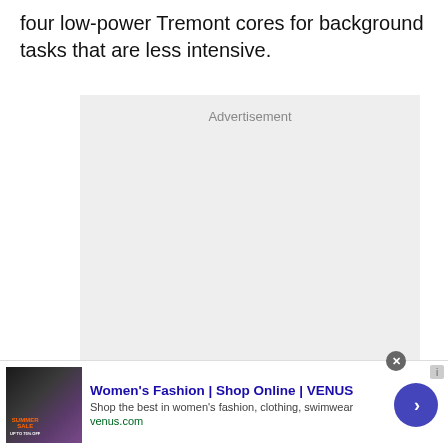four low-power Tremont cores for background tasks that are less intensive.
[Figure (other): Advertisement placeholder box with grey background and 'Advertisement' label at top center]
[Figure (other): Bottom banner advertisement for Women's Fashion at VENUS (venus.com) with product image showing Summer Sale, bold blue title 'Women's Fashion | Shop Online | VENUS', description 'Shop the best in women's fashion, clothing, swimwear', URL 'venus.com', close button, and blue arrow navigation button]